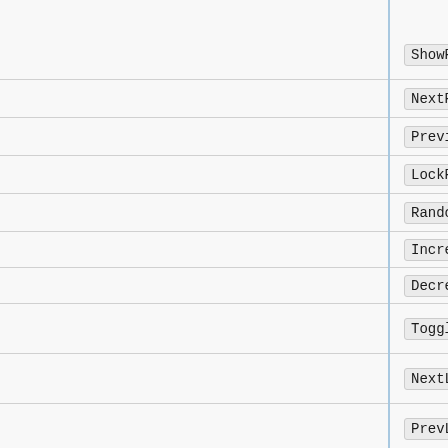ShowPreset
NextPreset
PreviousPreset
LockPreset
RandomPreset
IncreaseRating
DecreaseRating
ToggleWatched
NextLetter
PrevLetter